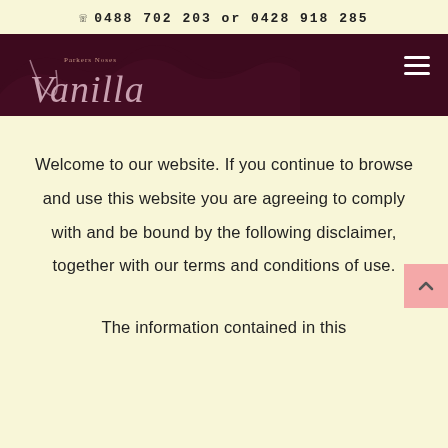0488 702 203 or 0428 918 285
[Figure (logo): Parkers Noses Vanilla cursive logo in white on dark maroon background with decorative mountain silhouette]
Welcome to our website. If you continue to browse and use this website you are agreeing to comply with and be bound by the following disclaimer, together with our terms and conditions of use.
The information contained in this